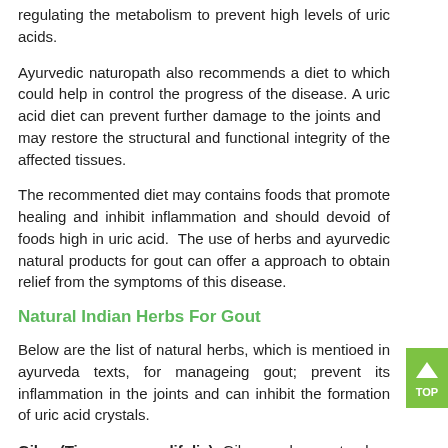regulating the metabolism to prevent high levels of uric acids.
Ayurvedic naturopath also recommends a diet to which could help in control the progress of the disease. A uric acid diet can prevent further damage to the joints and may restore the structural and functional integrity of the affected tissues.
The recommented diet may contains foods that promote healing and inhibit inflammation and should devoid of foods high in uric acid. The use of herbs and ayurvedic natural products for gout can offer a approach to obtain relief from the symptoms of this disease.
Natural Indian Herbs For Gout
Below are the list of natural herbs, which is mentioed in ayurveda texts, for manageing gout; prevent its inflammation in the joints and can inhibit the formation of uric acid crystals.
Giloy (Tinospora cordifolia): Giloy can be a natural